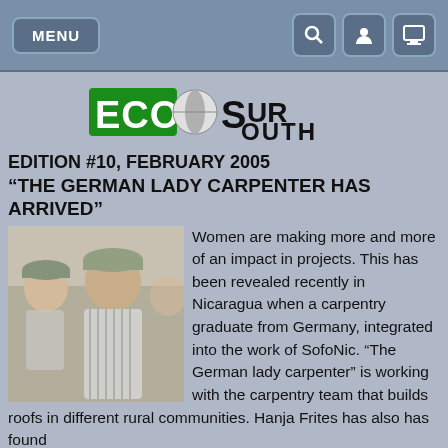MENU [search] [user] [screen]
[Figure (logo): ECO-SUR logo with green and black lettering and globe graphic]
EDITION #10, FEBRUARY 2005
“THE GERMAN LADY CARPENTER HAS ARRIVED”
[Figure (photo): Two people outdoors, one wearing a cap, standing together]
Women are making more and more of an impact in projects. This has been revealed recently in Nicaragua when a carpentry graduate from Germany, integrated into the work of SofoNic. “The German lady carpenter” is working with the carpentry team that builds roofs in different rural communities. Hanja Frites has also has found